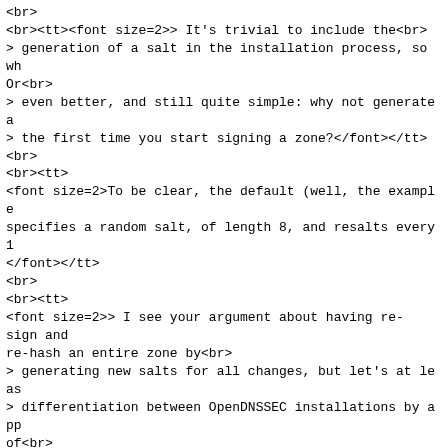<br>
<br><tt><font size=2>> It's trivial to include the<br>
> generation of a salt in the installation process, so wh
Or<br>
> even better, and still quite simple: why not generate a
> the first time you start signing a zone?</font></tt>
<br>
<br><tt>
<font size=2>To be clear, the default (well, the example
specifies a random salt, of length 8, and resalts every 1
</font></tt>
<br>
<br><tt>
<font size=2>> I see your argument about having re-
sign and
re-hash an entire zone by<br>
> generating new salts for all changes, but let's at leas
> differentiation between OpenDNSSEC installations by app
of<br>
> the suggestion above</font></tt>
<br>
<br><tt>
<font size=2>The only security gain we get from random-
salt-per-install
is that deployments can't be remotely identified as OpenD
can also be seen as a marketing loss) However, this has n
the cryptography of DNSSEC.</font></tt>
<br>
<br><tt><font size=2>Roy</font></tt>